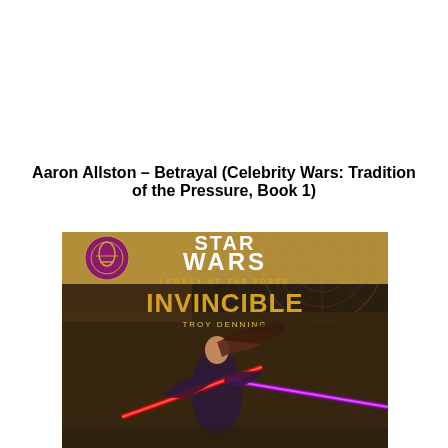Aaron Allston – Betrayal (Celebrity Wars: Tradition of the Pressure, Book 1)
[Figure (illustration): Book cover of Star Wars: Legacy of the Force – Invincible by Troy Denning. Shows a female warrior in dark outfit wielding a red and purple lightsaber against a dark brown interior background. The Star Wars logo and Legacy of the Force branding appear at the top along with the Jedi Order symbol.]